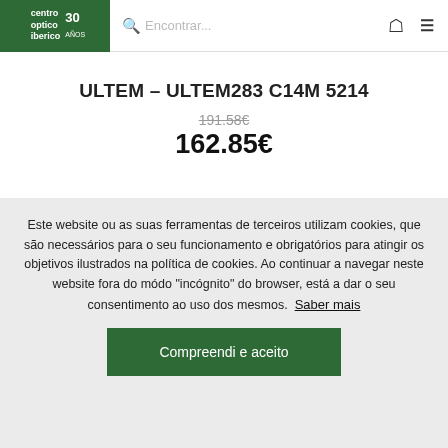centro optico iberico 30 anos | Encontrar... [search] [user icon] [menu icon]
ULTEM – ULTEM283 C14M 5214
191.58€ (strikethrough)
162.85€
Este website ou as suas ferramentas de terceiros utilizam cookies, que são necessários para o seu funcionamento e obrigatórios para atingir os objetivos ilustrados na política de cookies. Ao continuar a navegar neste website fora do módo "incógnito" do browser, está a dar o seu consentimento ao uso dos mesmos. Saber mais
Compreendi e aceito